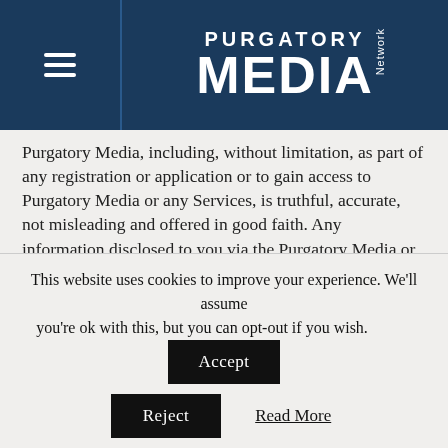[Figure (logo): Purgatory Media Network logo with hamburger menu icon on dark navy blue header background]
Purgatory Media, including, without limitation, as part of any registration or application or to gain access to Purgatory Media or any Services, is truthful, accurate, not misleading and offered in good faith. Any information disclosed to you via the Purgatory Media or the Services including, without limitation, any content in the personalized areas of the Purgatory Media, may be used only for its intended purpose. We expect that you will exercise caution, good sense and proper judgment in using the Purgatory Media and the Services. You agree NOT to use the Purgatory Media or the Services for or in
This website uses cookies to improve your experience. We'll assume you're ok with this, but you can opt-out if you wish.
Accept
Reject
Read More